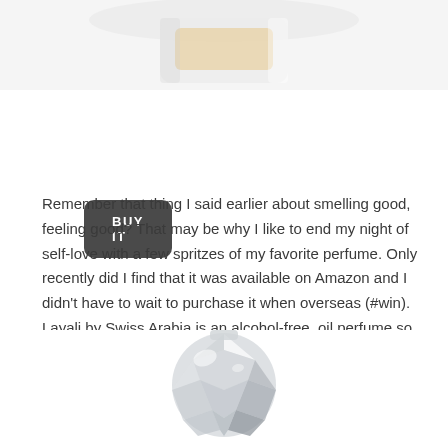[Figure (photo): Partial view of a product (bottle/container) cropped at top of page, light background]
BUY IT
Remember that thing I said earlier about smelling good, feeling good? That may be why I like to end my night of self-love with a few spritzes of my favorite perfume. Only recently did I find that it was available on Amazon and I didn't have to wait to purchase it when overseas (#win). Layali by Swiss Arabia is an alcohol-free, oil perfume so be sure to spray it on your skin, not your clothes. The bottle is quite glamorous, as well.
[Figure (photo): Bottom portion of a crystal/faceted glass perfume bottle, partially visible at bottom of page]